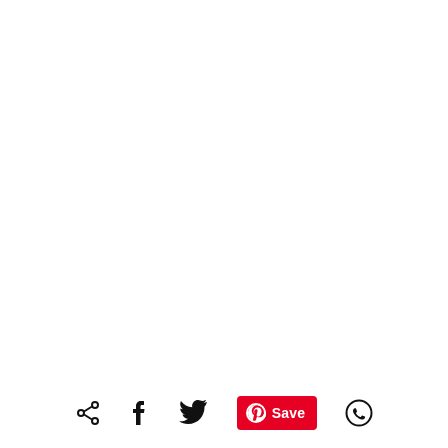[Figure (other): Social media share bar with icons: share (generic), Facebook, Twitter, Pinterest Save button (red), and WhatsApp]